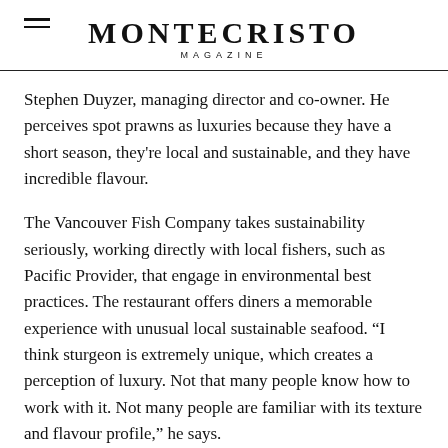MONTECRISTO MAGAZINE
Stephen Duyzer, managing director and co-owner. He perceives spot prawns as luxuries because they have a short season, they're local and sustainable, and they have incredible flavour.
The Vancouver Fish Company takes sustainability seriously, working directly with local fishers, such as Pacific Provider, that engage in environmental best practices. The restaurant offers diners a memorable experience with unusual local sustainable seafood. “I think sturgeon is extremely unique, which creates a perception of luxury. Not that many people know how to work with it. Not many people are familiar with its texture and flavour profile,” he says.
When I order sturgeon at the restaurant, the first morsel is